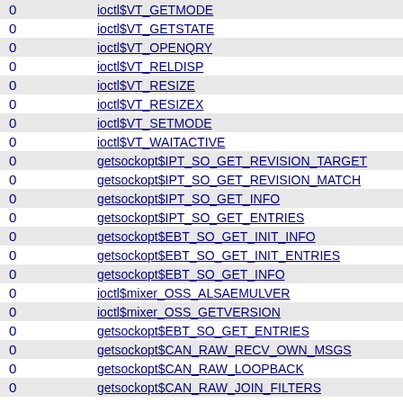|  |  |
| --- | --- |
| 0 | ioctl$VT_GETMODE |
| 0 | ioctl$VT_GETSTATE |
| 0 | ioctl$VT_OPENQRY |
| 0 | ioctl$VT_RELDISP |
| 0 | ioctl$VT_RESIZE |
| 0 | ioctl$VT_RESIZEX |
| 0 | ioctl$VT_SETMODE |
| 0 | ioctl$VT_WAITACTIVE |
| 0 | getsockopt$IPT_SO_GET_REVISION_TARGET |
| 0 | getsockopt$IPT_SO_GET_REVISION_MATCH |
| 0 | getsockopt$IPT_SO_GET_INFO |
| 0 | getsockopt$IPT_SO_GET_ENTRIES |
| 0 | getsockopt$EBT_SO_GET_INIT_INFO |
| 0 | getsockopt$EBT_SO_GET_INIT_ENTRIES |
| 0 | getsockopt$EBT_SO_GET_INFO |
| 0 | ioctl$mixer_OSS_ALSAEMULVER |
| 0 | ioctl$mixer_OSS_GETVERSION |
| 0 | getsockopt$EBT_SO_GET_ENTRIES |
| 0 | getsockopt$CAN_RAW_RECV_OWN_MSGS |
| 0 | getsockopt$CAN_RAW_LOOPBACK |
| 0 | getsockopt$CAN_RAW_JOIN_FILTERS |